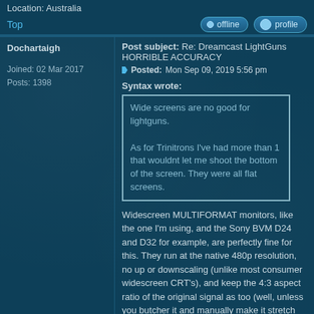Location: Australia
Top  offline  profile
Dochartaigh
Post subject: Re: Dreamcast LightGuns HORRIBLE ACCURACY
Posted: Mon Sep 09, 2019 5:56 pm
Joined: 02 Mar 2017
Posts: 1398
Syntax wrote:
Wide screens are no good for lightguns.

As for Trinitrons I've had more than 1 that wouldnt let me shoot the bottom of the screen. They were all flat screens.
Widescreen MULTIFORMAT monitors, like the one I'm using, and the Sony BVM D24 and D32 for example, are perfectly fine for this. They run at the native 480p resolution, no up or downscaling (unlike most consumer widescreen CRT's), and keep the 4:3 aspect ratio of the original signal as too (well, unless you butcher it and manually make it stretch the image).
My main test monitor throughout all this h...